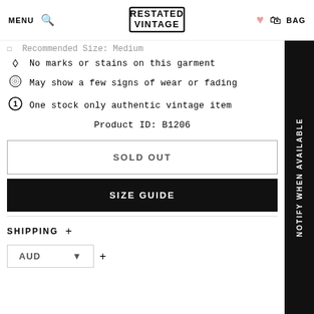MENU  [search]  RESTATED VINTAGE  [heart]  BAG
Recommended Size: Medium
No marks or stains on this garment
May show a few signs of wear or fading
One stock only authentic vintage item
Product ID: B1206
SOLD OUT
SIZE GUIDE
SHIPPING +
AUD ▾ +